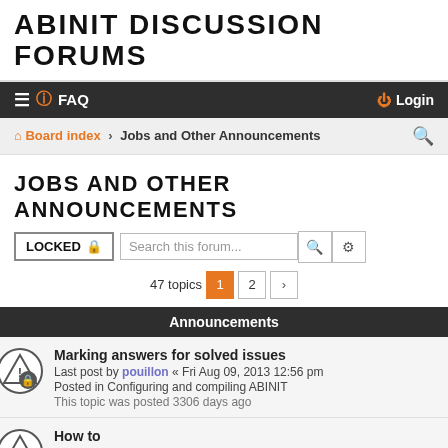ABINIT DISCUSSION FORUMS
≡ ? FAQ   Login
Board index › Jobs and Other Announcements
JOBS AND OTHER ANNOUNCEMENTS
LOCKED 🔒   Search this forum...   🔍  ⚙
47 topics  1  2  ›
Announcements
Marking answers for solved issues
Last post by pouillon « Fri Aug 09, 2013 12:56 pm
Posted in Configuring and compiling ABINIT
This topic was posted 3306 days ago
How to
Last post by admin « Wed Mar 31, 2010 2:26 pm
This topic was posted 4533 days ago